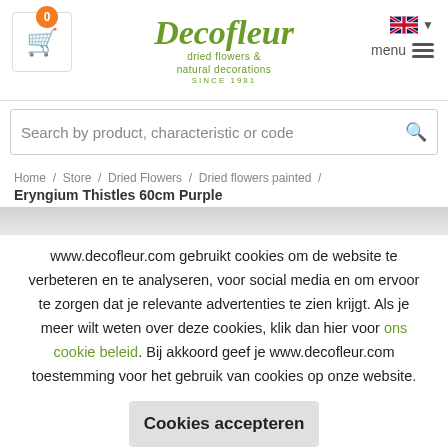[Figure (logo): Decofleur logo with text 'dried flowers & natural decorations SINCE 1981' in green, with shopping cart icon and badge showing 0, UK flag dropdown, and menu icon]
Search by product, characteristic or code
Home / Store / Dried Flowers / Dried flowers painted /
Eryngium Thistles 60cm Purple
www.decofleur.com gebruikt cookies om de website te verbeteren en te analyseren, voor social media en om ervoor te zorgen dat je relevante advertenties te zien krijgt. Als je meer wilt weten over deze cookies, klik dan hier voor ons cookie beleid. Bij akkoord geef je www.decofleur.com toestemming voor het gebruik van cookies op onze website.
Cookies accepteren
Cookies NIET accepteren